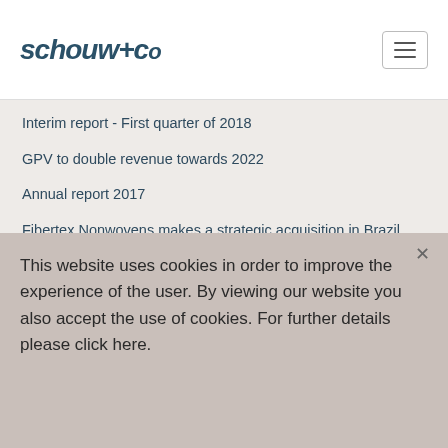schouw+co
Interim report - First quarter of 2018
GPV to double revenue towards 2022
Annual report 2017
Fibertex Nonwovens makes a strategic acquisition in Brazil
Interim report - third quarter of 2017
GPV invests more than DKK 100 million in
This website uses cookies in order to improve the experience of the user. By viewing our website you also accept the use of cookies. For further details please click here.